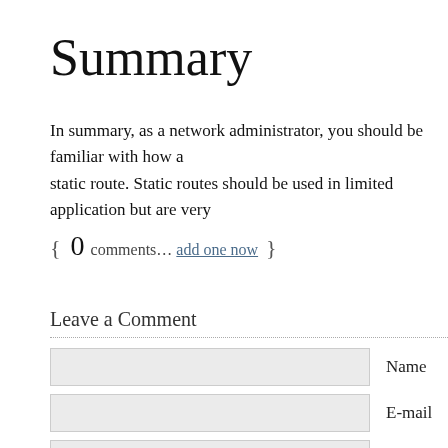Summary
In summary, as a network administrator, you should be familiar with how a static route. Static routes should be used in limited application but are very
{ 0 comments… add one now }
Leave a Comment
Name input field
E-mail input field
Website input field
Comment textarea